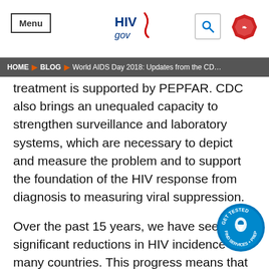Menu | HIV.gov
HOME > BLOG > World AIDS Day 2018: Updates from the CD...
treatment is supported by PEPFAR. CDC also brings an unequaled capacity to strengthen surveillance and laboratory systems, which are necessary to depict and measure the problem and to support the foundation of the HIV response from diagnosis to measuring viral suppression.
Over the past 15 years, we have seen significant reductions in HIV incidence in many countries. This progress means that we are on the cusp of a historic opportunity to control HIV without a vaccine or a cure. There is only a short time for us to achieve epidemic control, or we could see the tide turn towards an increase in cases if we don't find those living with HIV who have not been diagnosed and start treatment. Without eliminating HIV, we will always need to have access to both diagnosis and treatment. On this World
[Figure (logo): GET TESTED FIND SERVICES + PREP circular badge logo]